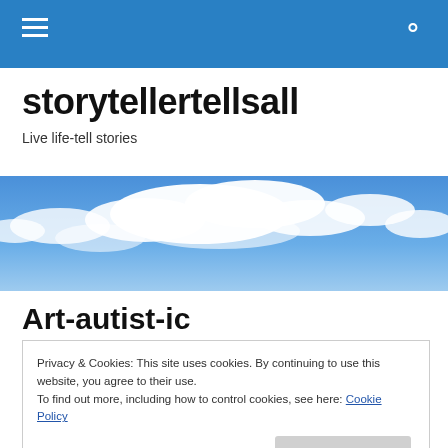storytellertellsall — Live life-tell stories
[Figure (photo): Wide sky scene with blue sky and white clouds, used as a hero/banner image for the website.]
Art-autist-ic
Privacy & Cookies: This site uses cookies. By continuing to use this website, you agree to their use.
To find out more, including how to control cookies, see here: Cookie Policy
[Close and accept button]
downtown museum, an awe that came to me was just